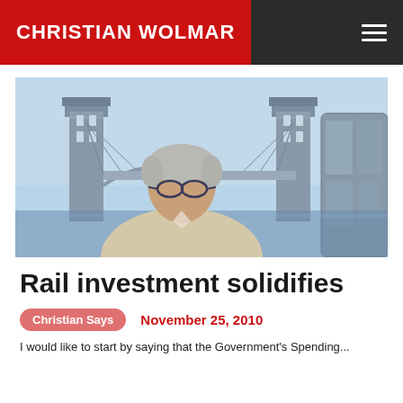CHRISTIAN WOLMAR
[Figure (photo): Man with grey hair and glasses standing in front of Tower Bridge, London, wearing a light beige jacket]
Rail investment solidifies
Christian Says   November 25, 2010
I would like to start by saying that the Government's Spending...